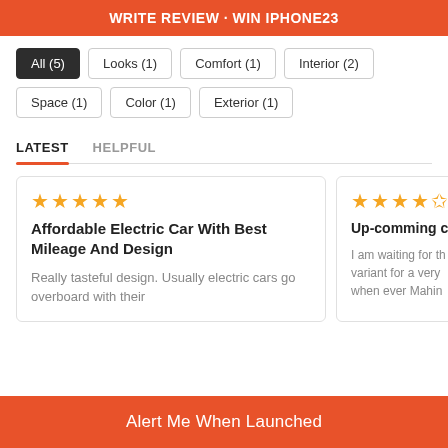WRITE REVIEW · WIN IPHONE23
All (5)
Looks (1)
Comfort (1)
Interior (2)
Space (1)
Color (1)
Exterior (1)
LATEST
HELPFUL
Affordable Electric Car With Best Mileage And Design
Really tasteful design. Usually electric cars go overboard with their
Up-comming ca...
I am waiting for the variant for a very when ever Mahin...
Alert Me When Launched